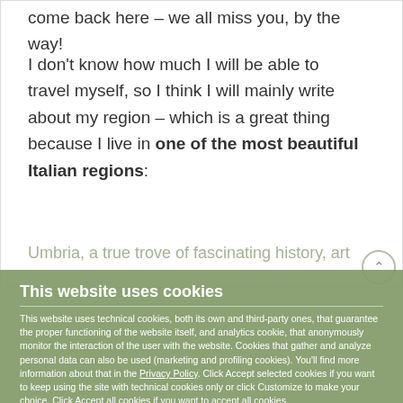come back here – we all miss you, by the way!
I don't know how much I will be able to travel myself, so I think I will mainly write about my region – which is a great thing because I live in one of the most beautiful Italian regions:
[link text partially obscured by cookie banner]
This website uses cookies
This website uses technical cookies, both its own and third-party ones, that guarantee the proper functioning of the website itself, and analytics cookie, that anonymously monitor the interaction of the user with the website. Cookies that gather and analyze personal data can also be used (marketing and profiling cookies). You'll find more information about that in the Privacy Policy. Click Accept selected cookies if you want to keep using the site with technical cookies only or click Customize to make your choice. Click Accept all cookies if you want to accept all cookies.
Necessary   Marketing   Customize
Accept selected cookies   Accept all cookies
Powered by Billaut Digital